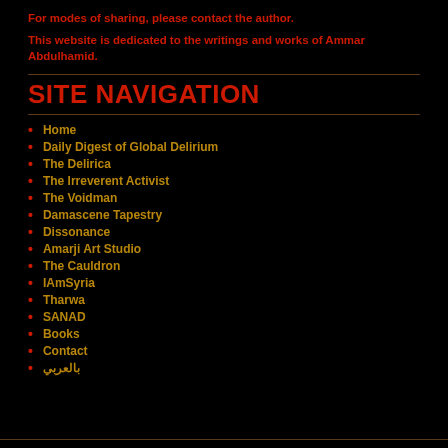For modes of sharing, please contact the author.
This website is dedicated to the writings and works of Ammar Abdulhamid.
SITE NAVIGATION
Home
Daily Digest of Global Delirium
The Delirica
The Irreverent Activist
The Voidman
Damascene Tapestry
Dissonance
Amarji Art Studio
The Cauldron
IAmSyria
Tharwa
SANAD
Books
Contact
بالعربي